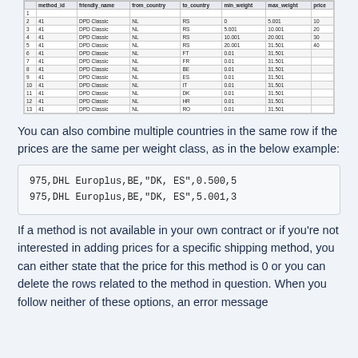|  | B | C | D | E | F | G |
| --- | --- | --- | --- | --- | --- | --- |
| 1 | method_id | friendly_name | from_country | to_country | min_weight | max_weight | price |
| 2 | 41 | DPD Classic | NL | RS | 0 | 5.001 | 10 |
| 3 | 41 | DPD Classic | NL | RS | 5.001 | 10.001 | 20 |
| 4 | 41 | DPD Classic | NL | RS | 10.001 | 20.001 | 30 |
| 5 | 41 | DPD Classic | NL | RS | 20.001 | 31.501 | 40 |
| 6 | 41 | DPD Classic | NL | FT | 0.01 | 31.501 |  |
| 7 | 41 | DPD Classic | NL | FR | 0.01 | 31.501 |  |
| 8 | 41 | DPD Classic | NL | BE | 0.01 | 31.501 |  |
| 9 | 41 | DPD Classic | NL | ES | 0.01 | 31.501 |  |
| 10 | 41 | DPD Classic | NL | IT | 0.01 | 31.501 |  |
| 11 | 41 | DPD Classic | NL | DK | 0.01 | 31.501 |  |
| 12 | 41 | DPD Classic | NL | HR | 0.01 | 31.501 |  |
| 13 | 41 | DPD Classic | NL | RO | 0.01 | 31.501 |  |
You can also combine multiple countries in the same row if the prices are the same per weight class, as in the below example:
975,DHL Europlus,BE,"DK, ES",0.500,5
975,DHL Europlus,BE,"DK, ES",5.001,3
If a method is not available in your own contract or if you're not interested in adding prices for a specific shipping method, you can either state that the price for this method is 0 or you can delete the rows related to the method in question. When you follow neither of these options, an error message